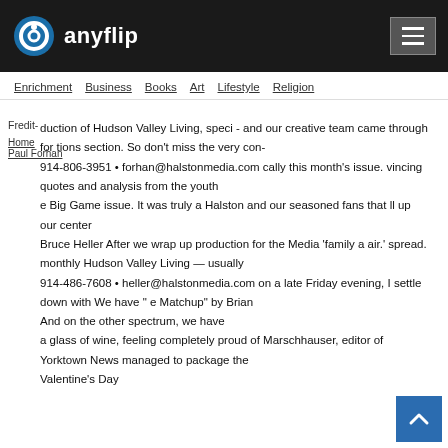anyflip
Enrichment  Business  Books  Art  Lifestyle  Religion
Fredit-
Paul Forhan duction of Hudson Valley Living, speci - and our creative team came through for tions section. So don't miss the very con-
914-806-3951 • forhan@halstonmedia.com cally this month's issue. vincing quotes and analysis from the youth
e Big Game issue. It was truly a Halston and our seasoned fans that ll up our center
Bruce Heller After we wrap up production for the Media 'family a air.' spread.
monthly Hudson Valley Living — usually
914-486-7608 • heller@halstonmedia.com on a late Friday evening, I settle down with We have " e Matchup" by Brian
And on the other spectrum, we have
a glass of wine, feeling completely proud of Marschhauser, editor of Yorktown News managed to package the
Valentine's Day